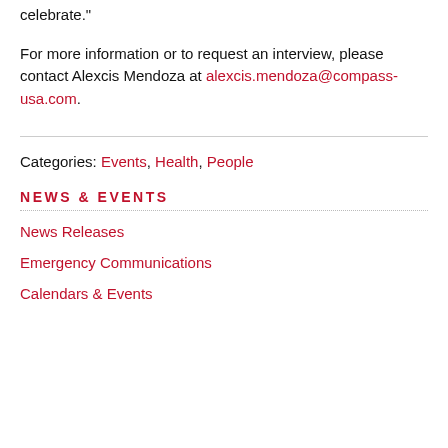celebrate."
For more information or to request an interview, please contact Alexcis Mendoza at alexcis.mendoza@compass-usa.com.
Categories: Events, Health, People
NEWS & EVENTS
News Releases
Emergency Communications
Calendars & Events